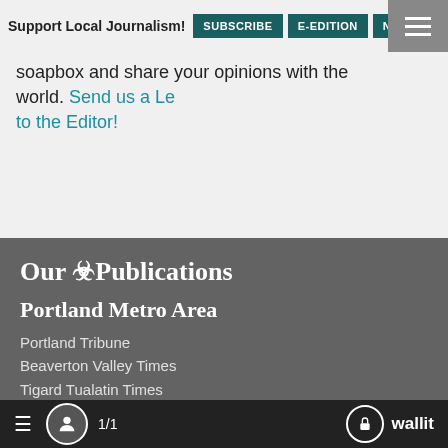Support Local Journalism! SUBSCRIBE E-EDITION NEWSLET
soapbox and share your opinions with the world. Send us a Letter to the Editor!
Our Publications
Portland Metro Area
Portland Tribune
Beaverton Valley Times
Tigard Tualatin Times
Lake Oswego Review
West Linn Tidings
Wilsonville Spokesman
Hillsboro Tribune
Forest Grove News Times
Newberg Graphic
Clackamas Review
1/1  wallit